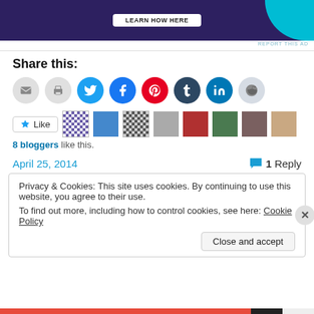[Figure (screenshot): Advertisement banner with dark purple background and teal accent]
REPORT THIS AD
Share this:
[Figure (infographic): Row of social share icon buttons: email, print, Twitter, Facebook, Pinterest, Tumblr, LinkedIn, Reddit]
[Figure (infographic): Like button with star icon and 8 blogger thumbnail avatars]
8 bloggers like this.
April 25, 2014
1 Reply
Privacy & Cookies: This site uses cookies. By continuing to use this website, you agree to their use.
To find out more, including how to control cookies, see here: Cookie Policy
Close and accept